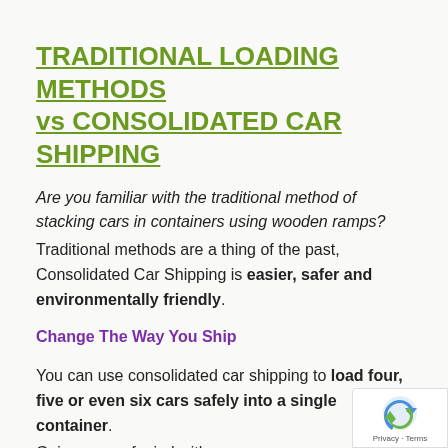TRADITIONAL LOADING METHODS vs CONSOLIDATED CAR SHIPPING
Are you familiar with the traditional method of stacking cars in containers using wooden ramps? Traditional methods are a thing of the past, Consolidated Car Shipping is easier, safer and environmentally friendly.
Change The Way You Ship
You can use consolidated car shipping to load four, five or even six cars safely into a single container. Gain peace of mind with